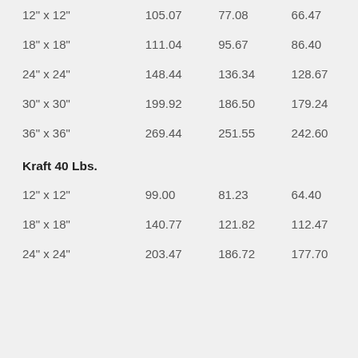| Size | Col1 | Col2 | Col3 |
| --- | --- | --- | --- |
| 12" x 12" | 105.07 | 77.08 | 66.47 |
| 18" x 18" | 111.04 | 95.67 | 86.40 |
| 24" x 24" | 148.44 | 136.34 | 128.67 |
| 30" x 30" | 199.92 | 186.50 | 179.24 |
| 36" x 36" | 269.44 | 251.55 | 242.60 |
| Kraft 40 Lbs. |  |  |  |
| 12" x 12" | 99.00 | 81.23 | 64.40 |
| 18" x 18" | 140.77 | 121.82 | 112.47 |
| 24" x 24" | 203.47 | 186.72 | 177.70 |